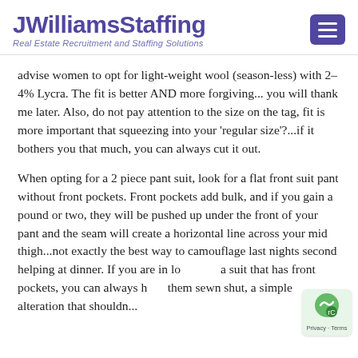JWilliamsStaffing — Real Estate Recruitment and Staffing Solutions
advise women to opt for light-weight wool (season-less) with 2-4% Lycra. The fit is better AND more forgiving... you will thank me later. Also, do not pay attention to the size on the tag, fit is more important that squeezing into your 'regular size'?...if it bothers you that much, you can always cut it out.
When opting for a 2 piece pant suit, look for a flat front suit pant without front pockets. Front pockets add bulk, and if you gain a pound or two, they will be pushed up under the front of your pant and the seam will create a horizontal line across your mid thigh...not exactly the best way to camouflage last nights second helping at dinner. If you are in love with a suit that has front pockets, you can always have them sewn shut, a simple alteration that shouldn't...